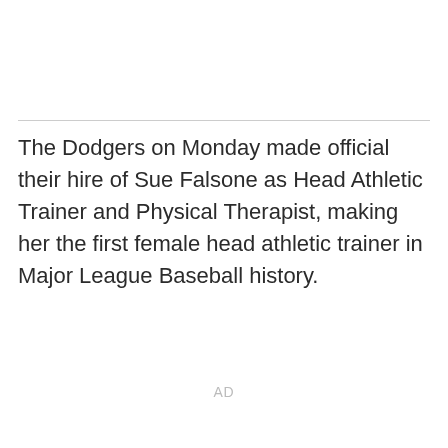The Dodgers on Monday made official their hire of Sue Falsone as Head Athletic Trainer and Physical Therapist, making her the first female head athletic trainer in Major League Baseball history.
AD